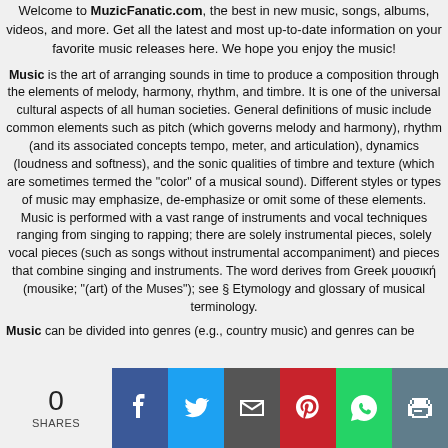Welcome to MuzicFanatic.com, the best in new music, songs, albums, videos, and more. Get all the latest and most up-to-date information on your favorite music releases here. We hope you enjoy the music!
Music is the art of arranging sounds in time to produce a composition through the elements of melody, harmony, rhythm, and timbre. It is one of the universal cultural aspects of all human societies. General definitions of music include common elements such as pitch (which governs melody and harmony), rhythm (and its associated concepts tempo, meter, and articulation), dynamics (loudness and softness), and the sonic qualities of timbre and texture (which are sometimes termed the "color" of a musical sound). Different styles or types of music may emphasize, de-emphasize or omit some of these elements. Music is performed with a vast range of instruments and vocal techniques ranging from singing to rapping; there are solely instrumental pieces, solely vocal pieces (such as songs without instrumental accompaniment) and pieces that combine singing and instruments. The word derives from Greek μουσική (mousike; "(art) of the Muses"); see § Etymology and glossary of musical terminology.
Music can be divided into genres (e.g., country music) and genres can be
[Figure (infographic): Social share bar showing 0 SHARES count and buttons for Facebook, Twitter, Email, Pinterest, WhatsApp, and Print]